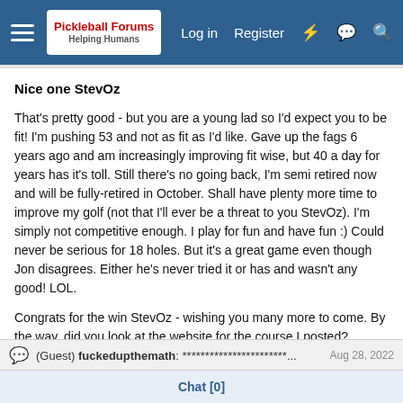Pickleball Forums — Log in  Register
Nice one StevOz
That's pretty good - but you are a young lad so I'd expect you to be fit! I'm pushing 53 and not as fit as I'd like. Gave up the fags 6 years ago and am increasingly improving fit wise, but 40 a day for years has it's toll. Still there's no going back, I'm semi retired now and will be fully-retired in October. Shall have plenty more time to improve my golf (not that I'll ever be a threat to you StevOz). I'm simply not competitive enough. I play for fun and have fun :) Could never be serious for 18 holes. But it's a great game even though Jon disagrees. Either he's never tried it or has and wasn't any good! LOL.
Congrats for the win StevOz - wishing you many more to come. By the way, did you look at the website for the course I posted?
(Guest) fuckedupthemath: ***********************... Aug 28, 2022
Chat [0]